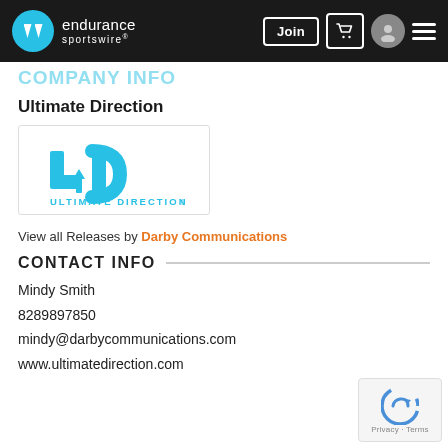endurance sportswire — navigation bar with Join, cart, user, and menu icons
COMPANY INFO (partial, cropped)
Ultimate Direction
[Figure (logo): Ultimate Direction logo — blue UD mark with arrow, ULTIMATE DIRECTION wordmark in blue]
View all Releases by Darby Communications
CONTACT INFO
Mindy Smith
8289897850
mindy@darbycommunications.com
www.ultimatedirection.com